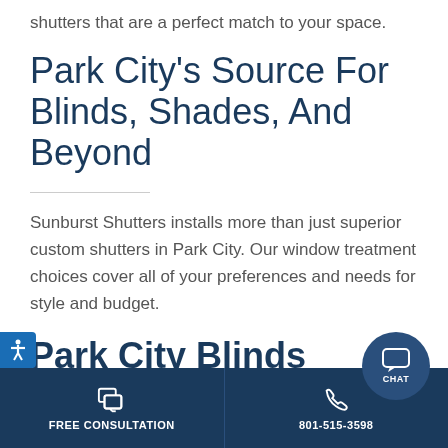shutters that are a perfect match to your space.
Park City's Source For Blinds, Shades, And Beyond
Sunburst Shutters installs more than just superior custom shutters in Park City. Our window treatment choices cover all of your preferences and needs for style and budget.
Park City Blinds
FREE CONSULTATION | 801-515-3598 | CHAT